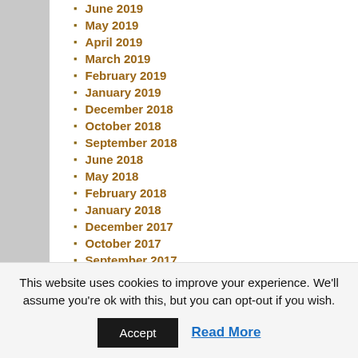June 2019
May 2019
April 2019
March 2019
February 2019
January 2019
December 2018
October 2018
September 2018
June 2018
May 2018
February 2018
January 2018
December 2017
October 2017
September 2017
This website uses cookies to improve your experience. We'll assume you're ok with this, but you can opt-out if you wish.